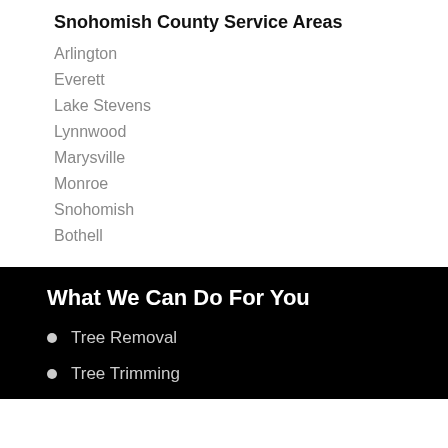Snohomish County Service Areas
Arlington
Everett
Lake Stevens
Lynnwood
Marysville
Monroe
Snohomish
Bothell
What We Can Do For You
Tree Removal
Tree Trimming